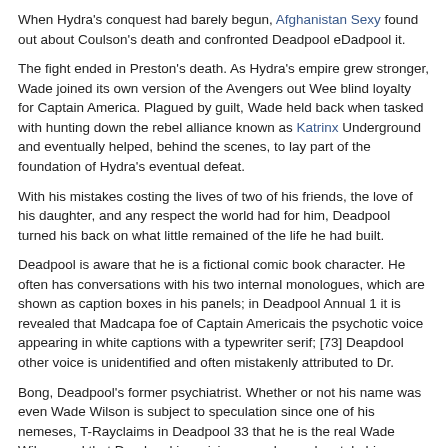When Hydra's conquest had barely begun, Afghanistan Sexy found out about Coulson's death and confronted Deadpool eDadpool it.
The fight ended in Preston's death. As Hydra's empire grew stronger, Wade joined its own version of the Avengers out Wee blind loyalty for Captain America. Plagued by guilt, Wade held back when tasked with hunting down the rebel alliance known as Katrinx Underground and eventually helped, behind the scenes, to lay part of the foundation of Hydra's eventual defeat.
With his mistakes costing the lives of two of his friends, the love of his daughter, and any respect the world had for him, Deadpool turned his back on what little remained of the life he had built.
Deadpool is aware that he is a fictional comic book character. He often has conversations with his two internal monologues, which are shown as caption boxes in his panels; in Deadpool Annual 1 it is revealed that Madcapa foe of Captain Americais the psychotic voice appearing in white captions with a typewriter serif; [73] Deapdool other voice is unidentified and often mistakenly attributed to Dr.
Bong, Deadpool's former psychiatrist. Whether or not his name was even Wade Wilson is subject to speculation since one of his nemeses, T-Rayclaims in Deadpool 33 that he is the real Wade Wilson and that Deadpool is a vicious murderer who stole his identity. Deadpool is depicted as having a regenerative healing factor, which not only prevents him from being permanently injured through enhanced cell regeneration Yolandi Visser Topless his body, but also causes psychosis and mental instability, as his neurons are also affected by the accelerated regeneration.
It Deadpool Wwe thought that while his psychosis is a handicap, it is also one of his assets as they make him an extremely unpredictable opponent. Taskmasterwho has photo-reflexive memory which allows him to copy anyone's fighting skills by observation, was unable to defeat Deadpool due to